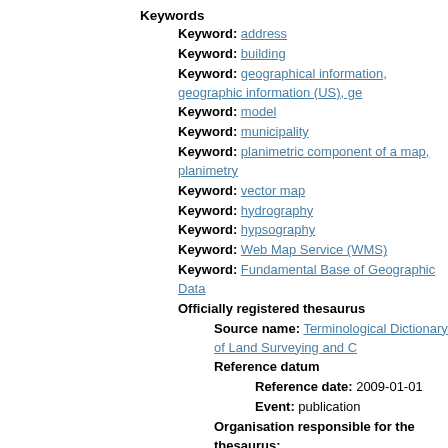Keywords
Keyword: address
Keyword: building
Keyword: geographical information, geographic information (US), ge
Keyword: model
Keyword: municipality
Keyword: planimetric component of a map, planimetry
Keyword: vector map
Keyword: hydrography
Keyword: hypsography
Keyword: Web Map Service (WMS)
Keyword: Fundamental Base of Geographic Data
Officially registered thesaurus
Source name: Terminological Dictionary of Land Surveying and C
Reference datum
Reference date: 2009-01-01
Event: publication
Organisation responsible for the thesaurus:
Name of the organisation: Czech Office for Surveying, Mapp
Role: pointOfContact
Keywords
Keyword: map service
Keyword: view service
Keyword: seamless
Keyword: hydrologic